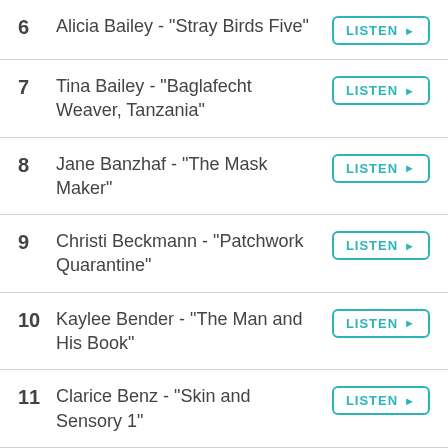6  Alicia Bailey - "Stray Birds Five"
7  Tina Bailey - "Baglafecht Weaver, Tanzania"
8  Jane Banzhaf - "The Mask Maker"
9  Christi Beckmann - "Patchwork Quarantine"
10  Kaylee Bender - "The Man and His Book"
11  Clarice Benz - "Skin and Sensory 1"
12  Brendt Berger - "Corona at Large, a series (1, 7, 9, 15, 18)
13  PJ Bergin - """Let Your Mind